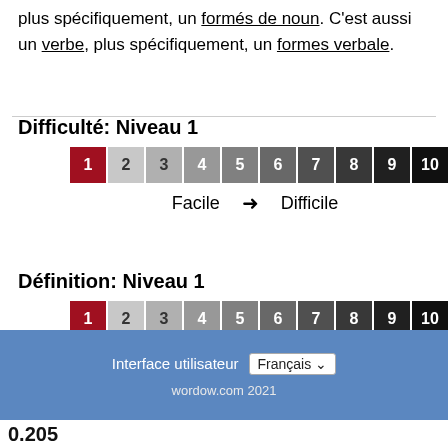plus spécifiquement, un formés de noun. C'est aussi un verbe, plus spécifiquement, un formes verbale.
Difficulté: Niveau 1
[Figure (infographic): A horizontal row of numbered boxes 1-10. Box 1 is highlighted red (selected), boxes 2-10 are various shades of gray to black. Below: 'Facile → Difficile']
Définition: Niveau 1
[Figure (infographic): A horizontal row of numbered boxes 1-10. Box 1 is highlighted red (selected), boxes 2-10 are various shades of gray to black. Below: 'Précis → Polyvalent']
Interface utilisateur  Français ✓  wordow.com 2021
0.205